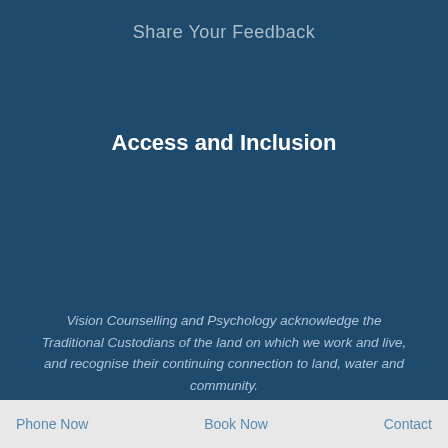Share Your Feedback
Access and Inclusion
Vision Counselling and Psychology acknowledge the Traditional Custodians of the land on which we work and live, and recognise their continuing connection to land, water and community.
We pay respect to Elders past, present and emerging.
Phone Now    Book Now    Contact